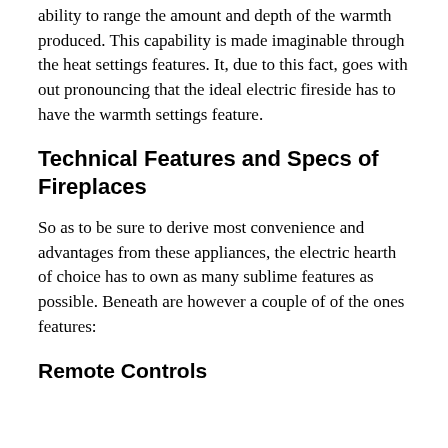ability to range the amount and depth of the warmth produced. This capability is made imaginable through the heat settings features. It, due to this fact, goes with out pronouncing that the ideal electric fireside has to have the warmth settings feature.
Technical Features and Specs of Fireplaces
So as to be sure to derive most convenience and advantages from these appliances, the electric hearth of choice has to own as many sublime features as possible. Beneath are however a couple of of the ones features:
Remote Controls